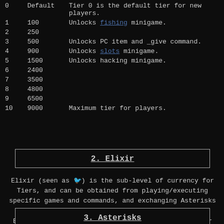| Tier | Cost | Notes |
| --- | --- | --- |
| 0 | Default | Tier 0 is the default tier for new players. |
| 1 | 100 | Unlocks fishing minigame. |
| 2 | 250 |  |
| 3 | 500 | Unlocks PC item and _give command. |
| 4 | 900 | Unlocks slots minigame. |
| 5 | 1500 | Unlocks hacking minigame. |
| 6 | 2400 |  |
| 7 | 3500 |  |
| 8 | 4800 |  |
| 9 | 6500 |  |
| 10 | 9000 | Maximum tier for players. |
2. Elixir
Elixir (seen as 🎲) is the sub-level of currency for Tiers, and can be obtained from playing/executing specific games and commands, and exchanging Asterisks to Elixir. Elixir can be used to level up Tiers. After leveling up by a Tier, you will not lose your Elixir.
3. Asterisks